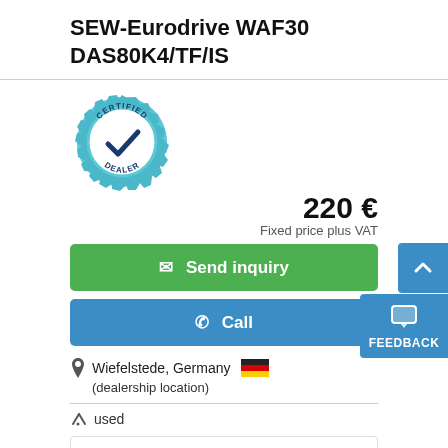SEW-Eurodrive WAF30 DAS80K4/TF/IS
[Figure (logo): Certified Dealer badge - circular gear shape with teal/blue color, checkmark in center, text CERTIFIED on top and DEALER on bottom]
220 €
Fixed price plus VAT
✉ Send inquiry
✆ Call
Wiefelstede, Germany 🇩🇪
(dealership location)
used
Gear motor, electric motor, electric gear motor - Manufacturer: SEW-Eurodrive, gear motor type